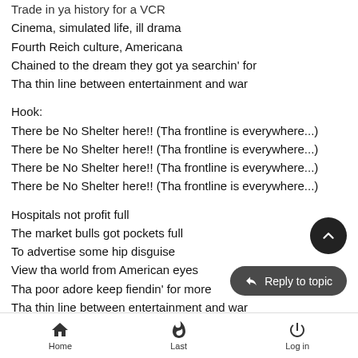Trade in ya history for a VCR (partial/cut off at top)
Cinema, simulated life, ill drama
Fourth Reich culture, Americana
Chained to the dream they got ya searchin' for
Tha thin line between entertainment and war
Hook:
There be No Shelter here!! (Tha frontline is everywhere...)
There be No Shelter here!! (Tha frontline is everywhere...)
There be No Shelter here!! (Tha frontline is everywhere...)
There be No Shelter here!! (Tha frontline is everywhere...)
Hospitals not profit full
The market bulls got pockets full
To advertise some hip disguise
View tha world from American eyes
Tha poor adore keep fiendin' for more
Tha thin line between entertainment and war
Tha frontline (partial, cut off)
Home  Last  Log in